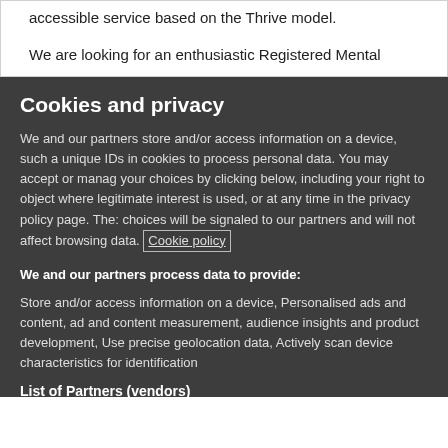accessible service based on the Thrive model.
We are looking for an enthusiastic Registered Mental
Cookies and privacy
We and our partners store and/or access information on a device, such a unique IDs in cookies to process personal data. You may accept or manage your choices by clicking below, including your right to object where legitimate interest is used, or at any time in the privacy policy page. These choices will be signaled to our partners and will not affect browsing data. Cookie policy
We and our partners process data to provide:
Store and/or access information on a device, Personalised ads and content, ad and content measurement, audience insights and product development, Use precise geolocation data, Actively scan device characteristics for identification
List of Partners (vendors)
[Figure (other): Partial white box visible at bottom, appears to be a button or card]